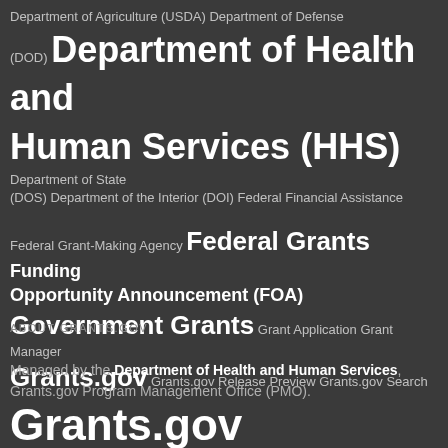[Figure (infographic): Tag cloud of federal grants related terms with varying font sizes indicating frequency/importance. Terms include: Department of Agriculture (USDA), Department of Defense (DOD), Department of Health and Human Services (HHS), Department of State (DOS), Department of the Interior (DOI), Federal Financial Assistance, Federal Grant-Making Agency, Federal Grants, Funding Opportunity Announcement (FOA), Government Grants, Grant Application, Grant Manager, Grants.gov, Grants.gov Release Preview, Grants.gov Search, Grants.gov Workspace, Grants for Research, Grant Writer, How to Apply for a Federal Grant, National Science Foundation (NSF), Office of Management and Budget (OMB), U.S. Agency for International Development (USAID), Video]
ABOUT GRANTS.GOV
Managed by the Department of Health and Human Services, Grants.gov Program Management Office (PMO).